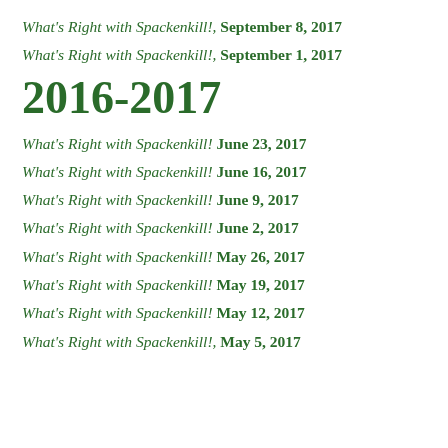What's Right with Spackenkill!, September 8, 2017
What's Right with Spackenkill!, September 1, 2017
2016-2017
What's Right with Spackenkill! June 23, 2017
What's Right with Spackenkill! June 16, 2017
What's Right with Spackenkill! June 9, 2017
What's Right with Spackenkill! June 2, 2017
What's Right with Spackenkill! May 26, 2017
What's Right with Spackenkill! May 19, 2017
What's Right with Spackenkill! May 12, 2017
What's Right with Spackenkill!, May 5, 2017